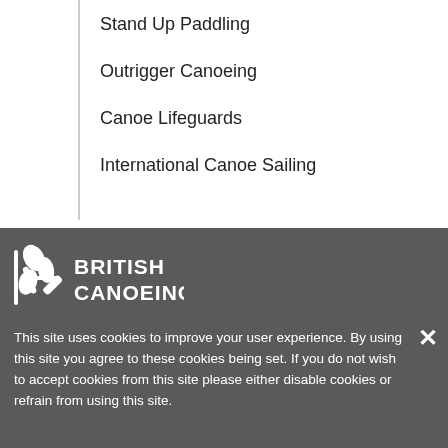Stand Up Paddling
Outrigger Canoeing
Canoe Lifeguards
International Canoe Sailing
[Figure (logo): British Canoeing logo with paddle and flame icon in white on dark grey background]
This site uses cookies to improve your user experience. By using this site you agree to these cookies being set. If you do not wish to accept cookies from this site please either disable cookies or refrain from using this site.